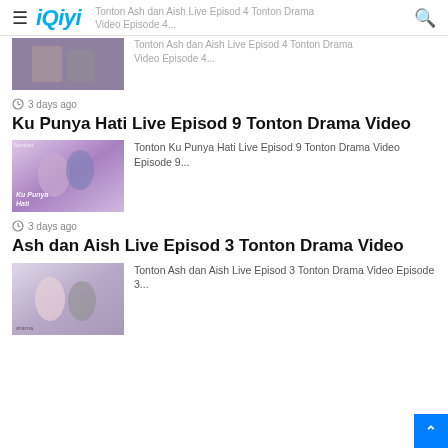iQiyi
Tonton Ash dan Aish Live Episod 4 Tonton Drama Video Episode 4...
3 days ago
Ku Punya Hati Live Episod 9 Tonton Drama Video
[Figure (photo): Thumbnail image for Ku Punya Hati drama showing two actors]
Tonton Ku Punya Hati Live Episod 9 Tonton Drama Video Episode 9...
3 days ago
Ash dan Aish Live Episod 3 Tonton Drama Video
[Figure (photo): Thumbnail image for Ash dan Aish drama showing two actors]
Tonton Ash dan Aish Live Episod 3 Tonton Drama Video Episode 3...